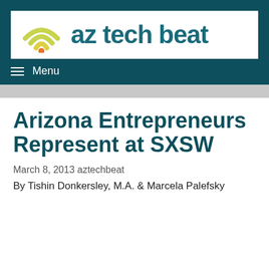[Figure (logo): az tech beat logo with WiFi signal icon in yellow-green and orange dot, and teal text 'az tech beat']
≡ Menu
Arizona Entrepreneurs Represent at SXSW
March 8, 2013 aztechbeat
By Tishin Donkersley, M.A. & Marcela Palefsky